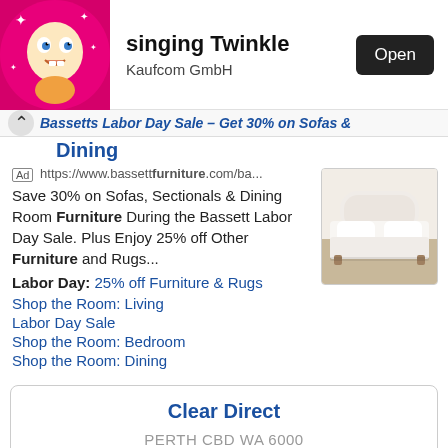[Figure (screenshot): App banner showing singing Twinkle app by Kaufcom GmbH with pink cartoon character image and Open button]
singing Twinkle
Kaufcom GmbH
Bassetts Labor Day Sale – Get 30% on Sofas & Dining
Ad https://www.bassettfurniture.com/ba...
Save 30% on Sofas, Sectionals & Dining Room Furniture During the Bassett Labor Day Sale. Plus Enjoy 25% off Other Furniture and Rugs...
Labor Day: 25% off Furniture & Rugs
Shop the Room: Living
Labor Day Sale
Shop the Room: Bedroom
Shop the Room: Dining
[Figure (photo): Photo of a white upholstered bed with white bedding on a light background]
Clear Direct
PERTH CBD WA 6000
1300 853 677   Website